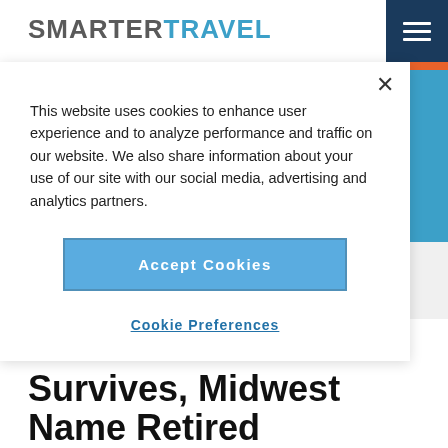SMARTERTRAVEL
This website uses cookies to enhance user experience and to analyze performance and traffic on our website. We also share information about your use of our site with our social media, advertising and analytics partners.
Accept Cookies
Cookie Preferences
AIRFARE DEALS
Apr 13, 2018
Frontier Brand Survives, Midwest Name Retired